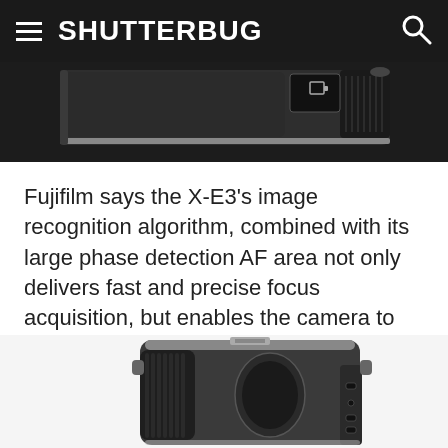SHUTTERBUG
[Figure (photo): Top portion of a Fujifilm X-E3 camera body showing the top plate, controls and textured grip, viewed from above at an angle against a dark background.]
Fujifilm says the X-E3's image recognition algorithm, combined with its large phase detection AF area not only delivers fast and precise focus acquisition, but enables the camera to track moving subjects half the size or moving twice as fast as the earlier X-E2.
[Figure (photo): Side view of a Fujifilm X-E3 camera body showing the left side panel with USB-C and other ports, textured grip and metal body details.]